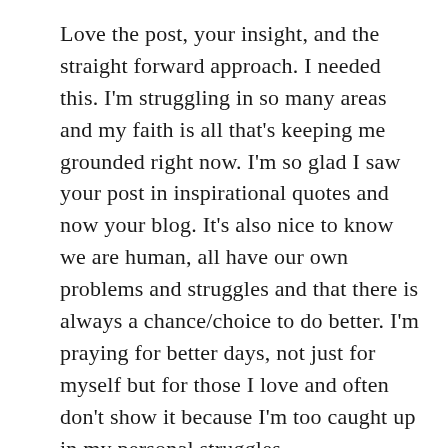Love the post, your insight, and the straight forward approach. I needed this. I'm struggling in so many areas and my faith is all that's keeping me grounded right now. I'm so glad I saw your post in inspirational quotes and now your blog. It's also nice to know we are human, all have our own problems and struggles and that there is always a chance/choice to do better. I'm praying for better days, not just for myself but for those I love and often don't show it because I'm too caught up in my personal struggles.
From The Robinsons,. “Keep moving forward!”